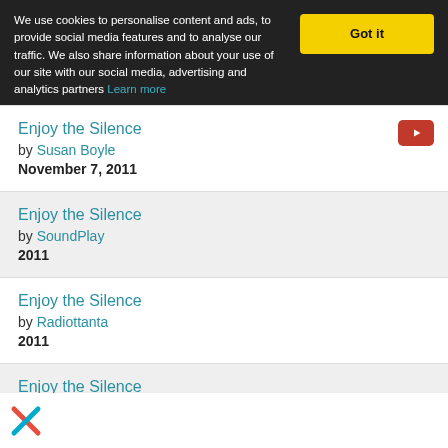We use cookies to personalise content and ads, to provide social media features and to analyse our traffic. We also share information about your use of our site with our social media, advertising and analytics partners Learn more
Enjoy the Silence by Susan Boyle November 7, 2011
Enjoy the Silence by SoundPlay 2011
Enjoy the Silence by Radiottanta 2011
Enjoy the Silence by Marsavril & Sophie Thiam